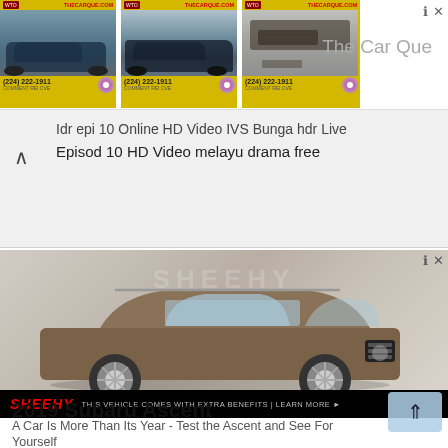[Figure (screenshot): Top banner ad showing three car listing cards from 'The Car Que' with phone number (224) 222-1911, each card has yellow background with a car photo]
The Car Que
Idr epi 10 Online HD Video IVS Bunga hdr Live
Episod 10 HD Video melayu drama free
[Figure (photo): Sheehy dealership advertisement showing a 2019 Subaru Ascent SUV in brown/copper color on a grey studio background. Bottom bar shows SHEEHY logo in red and text 'THIS VEHICLE COMES WITH EXTRA BENEFITS | LEARN MORE']
2019 Subaru Ascent
A Car Is More Than Its Year - Test the Ascent and See For Yourself